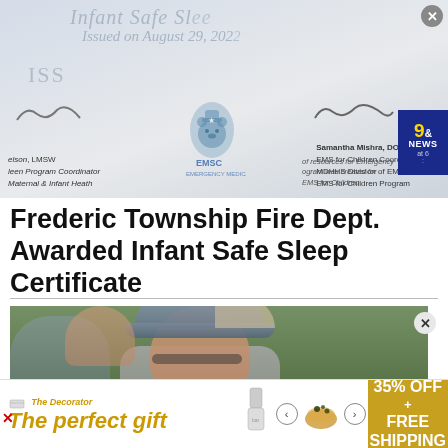[Figure (photo): Certificate image showing 'Infant Safe Sleep' text, issued on August 29, 2022, with signatures from a LMSW Maternal & Infant Health Program Coordinator and Samantha Mishra, DO, EMS for Children Coordinator, MDHHS Division of EMS and EMS for Children Program. Features EMSC bear logo and TV station 9& NEWS at 6 badge.]
Frederic Township Fire Dept. Awarded Infant Safe Sleep Certificate
[Figure (photo): Outdoor photo of two older men in close conversation. The man in the foreground wears a gray and tan trucker-style baseball cap and glasses.]
[Figure (photo): Advertisement banner showing The Decorator logo, 'The perfect gift' text in gold, product images including glassware and a bowl, navigation arrows, and '35% OFF + FREE SHIPPING' offer on gold background.]